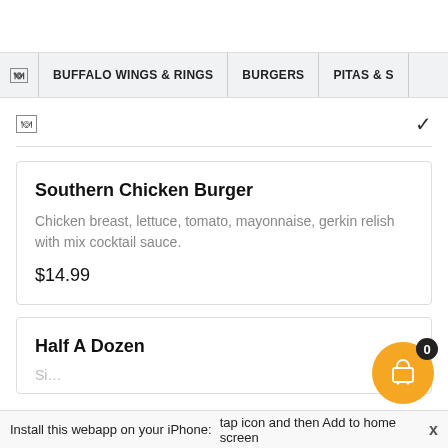🍔 | BUFFALO WINGS & RINGS | BURGERS | PITAS & S
🍔 ∨
Southern Chicken Burger
Chicken breast, lettuce, tomato, mayonnaise, gerkin relish with mix cocktail sauce.
$14.99
Half A Dozen
Install this webapp on your iPhone:   tap icon and then Add to home screen   x